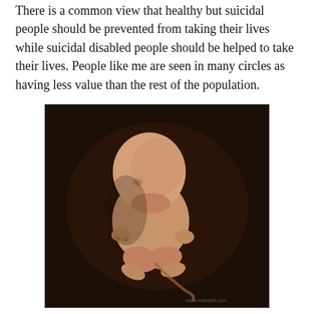There is a common view that healthy but suicidal people should be prevented from taking their lives while suicidal disabled people should be helped to take their lives. People like me are seen in many circles as having less value than the rest of the population.
[Figure (photo): Close-up photograph of a human fetus in the womb, curled in fetal position against a dark brown background.]
I don't know why this should surprise me. Canada aborts unwanted or inconvenient preborn babies yet will go to extraordinary measures to save a wanted unborn child. Why does being wanted or unwanted, convenient or inconvenient define human value? (I thought civilized societies move toward enlightenment, not away from it.)
Civilized societies, by proper definition, protect the